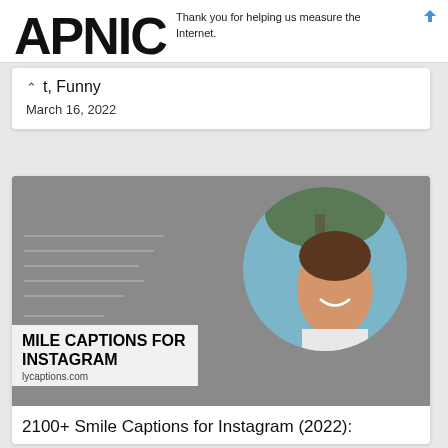APNIC
Thank you for helping us measure the Internet.
t, Funny
March 16, 2022
[Figure (photo): Smiling woman outdoors with tree background, circle-cropped, on gray background with decorative horizontal lines and text overlay reading 'MILE CAPTIONS FOR INSTAGRAM' and 'lycaptions.com']
2100+ Smile Captions for Instagram (2022):